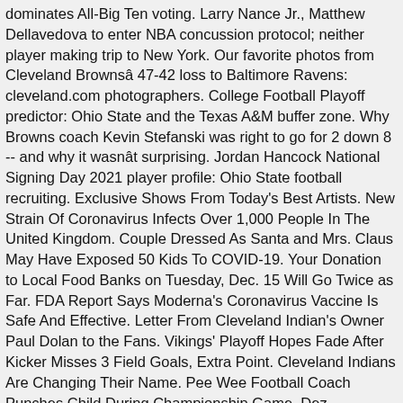dominates All-Big Ten voting. Larry Nance Jr., Matthew Dellavedova to enter NBA concussion protocol; neither player making trip to New York. Our favorite photos from Cleveland Brownsâ 47-42 loss to Baltimore Ravens: cleveland.com photographers. College Football Playoff predictor: Ohio State and the Texas A&M buffer zone. Why Browns coach Kevin Stefanski was right to go for 2 down 8 -- and why it wasnât surprising. Jordan Hancock National Signing Day 2021 player profile: Ohio State football recruiting. Exclusive Shows From Today's Best Artists. New Strain Of Coronavirus Infects Over 1,000 People In The United Kingdom. Couple Dressed As Santa and Mrs. Claus May Have Exposed 50 Kids To COVID-19. Your Donation to Local Food Banks on Tuesday, Dec. 15 Will Go Twice as Far. FDA Report Says Moderna's Coronavirus Vaccine Is Safe And Effective. Letter From Cleveland Indian's Owner Paul Dolan to the Fans. Vikings' Playoff Hopes Fade After Kicker Misses 3 Field Goals, Extra Point. Cleveland Indians Are Changing Their Name. Pee Wee Football Coach Punches Child During Championship Game. Dez